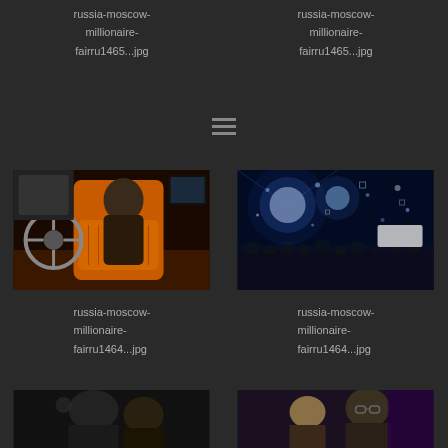russia-moscow-millionaire-fairru1465...jpg
russia-moscow-millionaire-fairru1465...jpg
[Figure (other): Hamburger menu icon with three horizontal lines]
[Figure (photo): Interior of a luxury car with orange leather seats and a woman sitting inside]
[Figure (photo): Crowd at a nightclub or concert with bright blue lights and confetti]
russia-moscow-millionaire-fairru1464...jpg
russia-moscow-millionaire-fairru1464...jpg
[Figure (photo): Dark photo showing a person, partially visible at bottom of page]
[Figure (photo): Photo of a man with glasses at an event, partially visible at bottom of page]